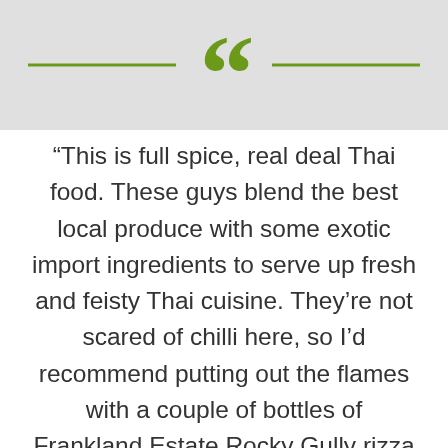[Figure (illustration): Light grey header band with two olive/green horizontal rules flanking a large green double open-quotation mark symbol]
“This is full spice, real deal Thai food. These guys blend the best local produce with some exotic import ingredients to serve up fresh and feisty Thai cuisine. They’re not scared of chilli here, so I’d recommend putting out the flames with a couple of bottles of Frankland Estate Rocky Gully rizza or Waimea Estate gewürz. The